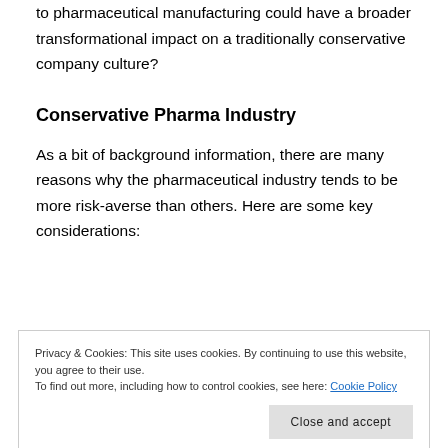to pharmaceutical manufacturing could have a broader transformational impact on a traditionally conservative company culture?
Conservative Pharma Industry
As a bit of background information, there are many reasons why the pharmaceutical industry tends to be more risk-averse than others. Here are some key considerations:
Privacy & Cookies: This site uses cookies. By continuing to use this website, you agree to their use.
To find out more, including how to control cookies, see here: Cookie Policy
[Close and accept]
America, PhRMA) before the actual product